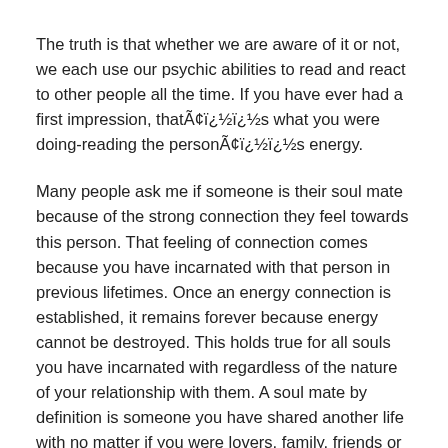The truth is that whether we are aware of it or not, we each use our psychic abilities to read and react to other people all the time. If you have ever had a first impression, thatÃ¢ï¿½ï¿½s what you were doing-reading the personÃ¢ï¿½ï¿½s energy.
Many people ask me if someone is their soul mate because of the strong connection they feel towards this person. That feeling of connection comes because you have incarnated with that person in previous lifetimes. Once an energy connection is established, it remains forever because energy cannot be destroyed. This holds true for all souls you have incarnated with regardless of the nature of your relationship with them. A soul mate by definition is someone you have shared another life with no matter if you were lovers, family, friends or enemies.Ã Ã